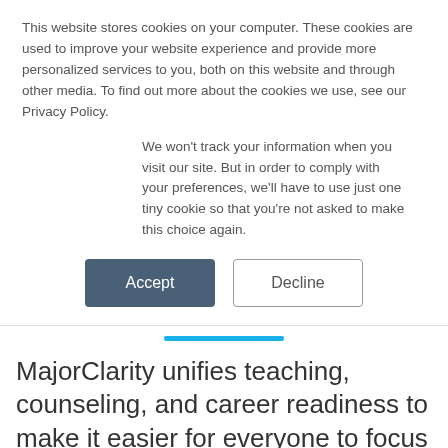This website stores cookies on your computer. These cookies are used to improve your website experience and provide more personalized services to you, both on this website and through other media. To find out more about the cookies we use, see our Privacy Policy.
We won't track your information when you visit our site. But in order to comply with your preferences, we'll have to use just one tiny cookie so that you're not asked to make this choice again.
MajorClarity unifies teaching, counseling, and career readiness to make it easier for everyone to focus on what matters: equipping students for meaningful and successful careers.
We believe that engagement is everything. Students learn best when they are